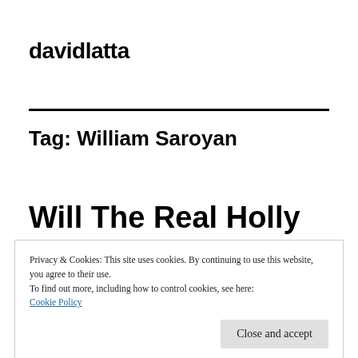davidlatta
Tag: William Saroyan
Will The Real Holly
Privacy & Cookies: This site uses cookies. By continuing to use this website, you agree to their use.
To find out more, including how to control cookies, see here:
Cookie Policy
Close and accept
4 Votes